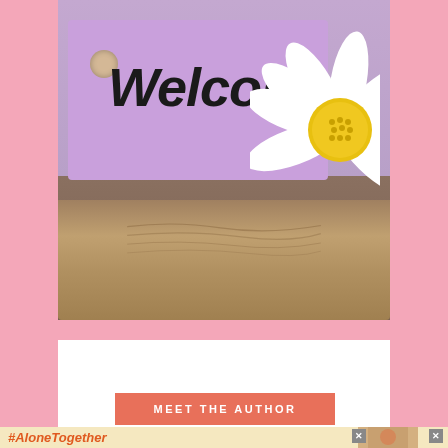[Figure (photo): A purple gift tag with 'Welcome' written in cursive black script, with a white daisy flower on the right side, set against a sandy/burlap textured background]
[Figure (illustration): White content box area below the main photo, with a coral/salmon colored banner reading 'MEET THE AUTHOR' in white uppercase letters]
MEET THE AUTHOR
[Figure (screenshot): Advertisement bar at the bottom showing '#AloneTogether' in orange italic bold text on a cream/yellow background, with a small photo of a woman and close buttons]